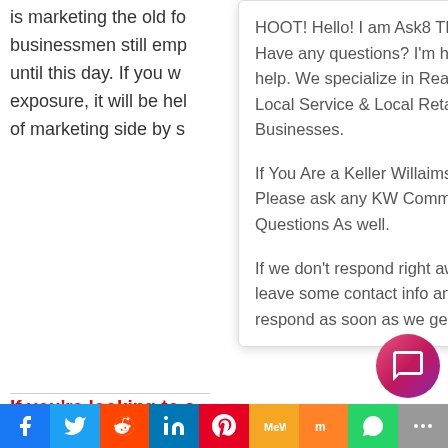is marketing the old fo businessmen still emp until this day. If you w exposure, it will be hel of marketing side by s
HOOT! Hello! I am Ask8 The Owl Have any questions? I'm happy to help. We specialize in Real Estate & Local Service & Local Retail Businesses.

If You Are a Keller Willaims Agent, Please ask any KW Command Questions As well.

If we don't respond right away, please leave some contact info and we will respond as soon as we get back.
If you're looking to save money reach a larger target audience,